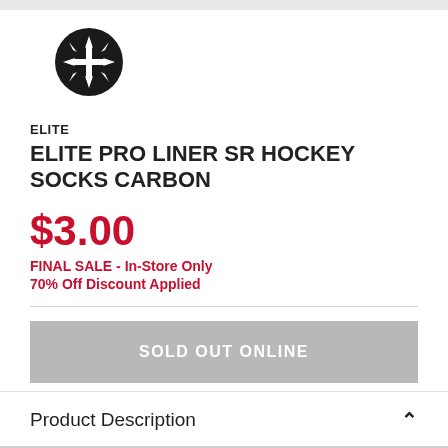[Figure (logo): Black circular logo with a white hockey/maple leaf cross symbol inside]
ELITE
ELITE PRO LINER SR HOCKEY SOCKS CARBON
$3.00
FINAL SALE - In-Store Only
70% Off Discount Applied
SOLD OUT ONLINE
Product Description